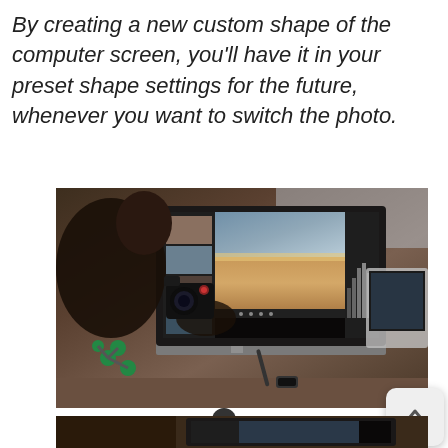By creating a new custom shape of the computer screen, you'll have it in your preset shape settings for the future, whenever you want to switch the photo.
[Figure (photo): A person sitting at a desk editing photos on a large iMac-style monitor using photo editing software, with a camera and molecular model visible in the foreground]
[Figure (photo): Partial view of a second photo showing a similar computer editing setup, cropped at bottom of page]